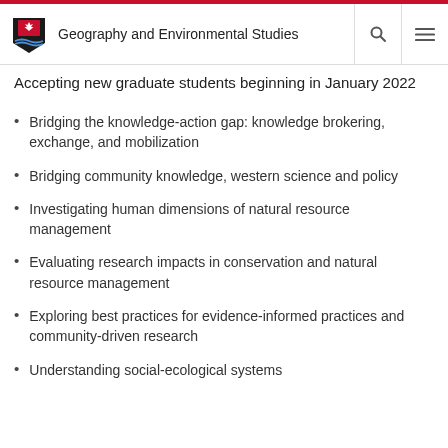Geography and Environmental Studies
Accepting new graduate students beginning in January 2022
Bridging the knowledge-action gap: knowledge brokering, exchange, and mobilization
Bridging community knowledge, western science and policy
Investigating human dimensions of natural resource management
Evaluating research impacts in conservation and natural resource management
Exploring best practices for evidence-informed practices and community-driven research
Understanding social-ecological systems